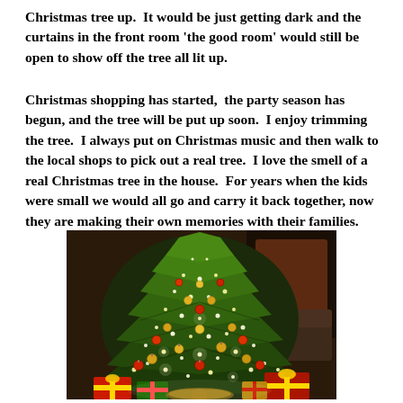Christmas tree up.  It would be just getting dark and the curtains in the front room 'the good room' would still be open to show off the tree all lit up.
Christmas shopping has started,  the party season has begun, and the tree will be put up soon.  I enjoy trimming the tree.  I always put on Christmas music and then walk to the local shops to pick out a real tree.  I love the smell of a real Christmas tree in the house.  For years when the kids were small we would all go and carry it back together, now they are making their own memories with their families.
[Figure (photo): A decorated Christmas tree with gold and red ornaments and twinkling white lights, with wrapped gifts underneath, in a warmly lit room.]